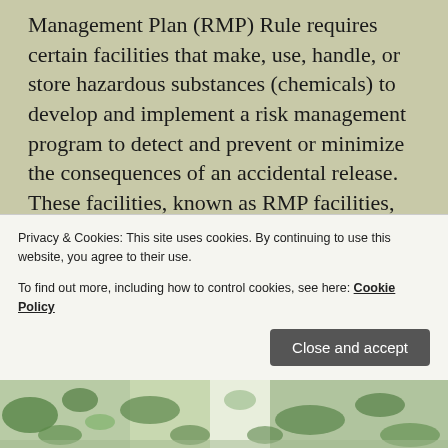Management Plan (RMP) Rule requires certain facilities that make, use, handle, or store hazardous substances (chemicals) to develop and implement a risk management program to detect and prevent or minimize the consequences of an accidental release. These facilities, known as RMP facilities, include chemical manufacturers and water treatment plants. Federal data on flooding, storm surge, wildfire, and sea level rise—natural hazards that may be exacerbated by climate change—indicate that over 3,200 of the 10,420 facilities we analyzed, or about 31 percent, are located in areas with these natural hazards (see figure). View the full results of GAO's
Privacy & Cookies: This site uses cookies. By continuing to use this website, you agree to their use.
To find out more, including how to control cookies, see here: Cookie Policy
[Figure (map): Bottom strip showing a map with green and white patterns representing geographic/satellite imagery]